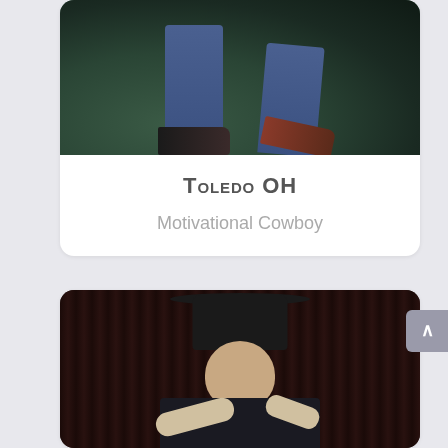[Figure (photo): Photo of person's legs and feet in jeans and sneakers walking on a dark surface with green tones]
Toledo OH
Motivational Cowboy
[Figure (photo): Man in black cowboy hat wearing a black suit jacket, pointing with left hand and holding a microphone with right hand, against a dark curtain background]